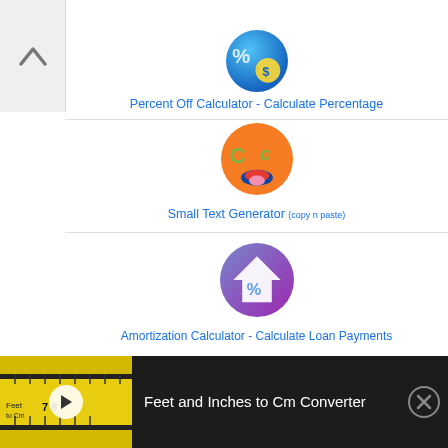[Figure (screenshot): App icon for Percent Off Calculator - circular blue/teal icon with percent and dollar signs]
Percent Off Calculator - Calculate Percentage
[Figure (screenshot): App icon for Small Text Generator - orange smiley face with C letters for eyes]
Small Text Generator (copy n paste)
[Figure (screenshot): App icon for Amortization Calculator - purple/blue house with percent sign]
Amortization Calculator - Calculate Loan Payments
[Figure (screenshot): App icon for Sort Numbers - orange circle with 9 and 1 and arrow]
Sort Numbers
[Figure (screenshot): Ad banner showing tape measure thumbnail for Feet and Inches to Cm Converter video]
Feet and Inches to Cm Converter